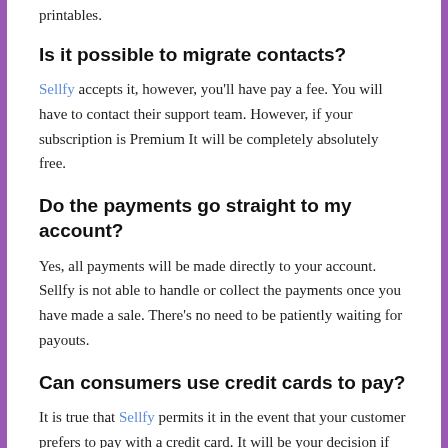printables.
Is it possible to migrate contacts?
Sellfy accepts it, however, you'll have pay a fee. You will have to contact their support team. However, if your subscription is Premium It will be completely absolutely free.
Do the payments go straight to my account?
Yes, all payments will be made directly to your account. Sellfy is not able to handle or collect the payments once you have made a sale. There's no need to be patiently waiting for payouts.
Can consumers use credit cards to pay?
It is true that Sellfy permits it in the event that your customer prefers to pay with a credit card. It will be your decision if you choose PayPal, Stripe, or credit card as your method of payment.